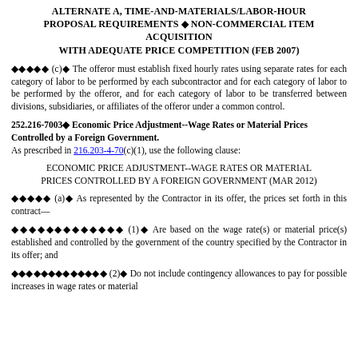ALTERNATE A, TIME-AND-MATERIALS/LABOR-HOUR PROPOSAL REQUIREMENTS — NON-COMMERCIAL ITEM ACQUISITION WITH ADEQUATE PRICE COMPETITION (FEB 2007)
◆◆◆◆◆ (c)◆ The offeror must establish fixed hourly rates using separate rates for each category of labor to be performed by each subcontractor and for each category of labor to be performed by the offeror, and for each category of labor to be transferred between divisions, subsidiaries, or affiliates of the offeror under a common control.
252.216-7003◆ Economic Price Adjustment--Wage Rates or Material Prices Controlled by a Foreign Government. As prescribed in 216.203-4-70(c)(1), use the following clause:
ECONOMIC PRICE ADJUSTMENT--WAGE RATES OR MATERIAL PRICES CONTROLLED BY A FOREIGN GOVERNMENT (MAR 2012)
◆◆◆◆◆ (a)◆ As represented by the Contractor in its offer, the prices set forth in this contract—
◆◆◆◆◆◆◆◆◆◆◆◆◆ (1)◆ Are based on the wage rate(s) or material price(s) established and controlled by the government of the country specified by the Contractor in its offer; and
◆◆◆◆◆◆◆◆◆◆◆◆◆ (2)◆ Do not include contingency allowances to pay for possible increases in wage rates or material